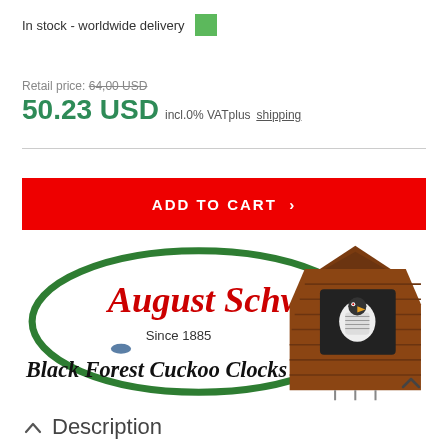In stock - worldwide delivery
Retail price: 64,00 USD
50.23 USD incl.0% VATplus shipping
ADD TO CART >
[Figure (logo): August Schwer Since 1885 Black Forest Cuckoo Clocks logo with cuckoo bird image]
Description